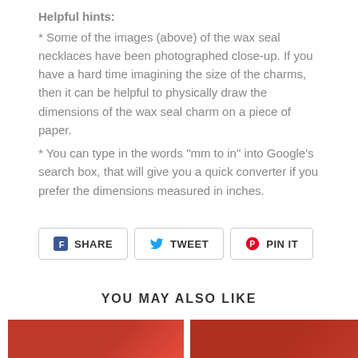Helpful hints:
* Some of the images (above) of the wax seal necklaces have been photographed close-up. If you have a hard time imagining the size of the charms, then it can be helpful to physically draw the dimensions of the wax seal charm on a piece of paper.
* You can type in the words "mm to in" into Google's search box, that will give you a quick converter if you prefer the dimensions measured in inches.
[Figure (other): Social sharing buttons: SHARE (Facebook), TWEET (Twitter), PIN IT (Pinterest)]
YOU MAY ALSO LIKE
[Figure (photo): Product photo left - red wax seal necklace]
[Figure (photo): Product photo right - red wax seal necklace]